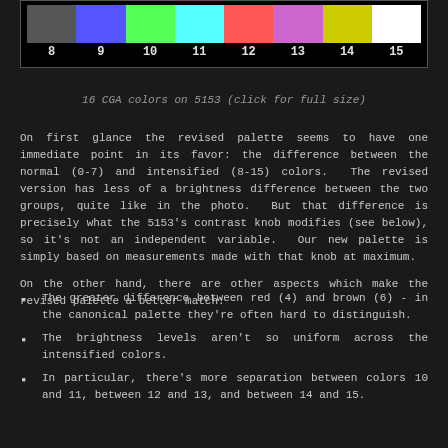[Figure (illustration): CGA color bar display showing colors 8 through 15 (dark gray, blue, green, cyan, red, magenta, yellow, white) on a black background with numbered labels below each bar.]
16 CGA colors on 5153 (click for full size)
On first glance the revised palette seems to have one immediate point in its favor: the difference between the normal (0-7) and intensified (8-15) colors. The revised version has less of a brightness difference between the two groups, quite like in the photo. But that difference is precisely what the 5153's contrast knob modifies (see below), so it's not an independent variable. Our new palette is simply based on measurements made with that knob at maximum.
On the other hand, there are other aspects which make the revised palette a better match:
The greater difference between red (4) and brown (6) - in the canonical palette they're often hard to distinguish.
The brightness levels aren't so uniform across the intensified colors.
In particular, there's more separation between colors 10 and 11, between 12 and 13, and between 14 and 15.